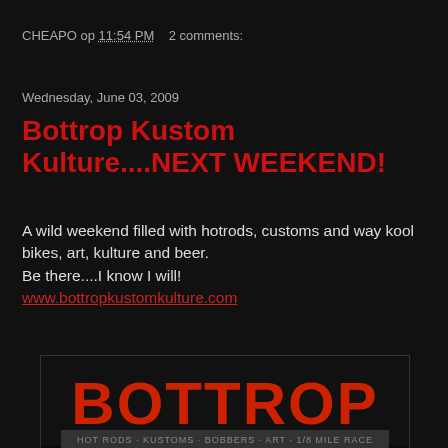CHEAPO op 11:54 PM   2 comments:
Wednesday, June 03, 2009
Bottrop Kustom Kulture....NEXT WEEKEND!
A wild weekend filled with hotrods, customs and way kool bikes, art, kulture and beer.
Be there....I know I will!
www.bottropkustomkulture.com
[Figure (illustration): Bottrop Kustom Kulture event poster showing stylized hot rod with smoke clouds and red/white design, text reads BOTTROP HOT RODS KUSTOMS BOBBERS ART 1/8 MILE RACE www.bottropkustomkulture.com]